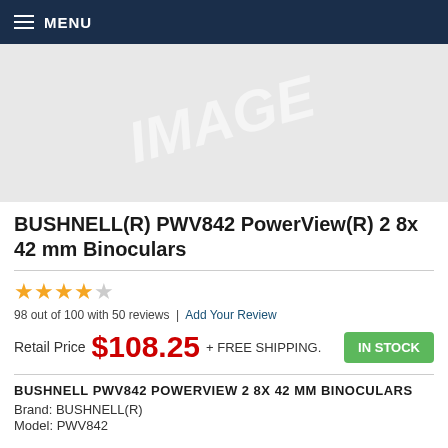MENU
[Figure (photo): Product image placeholder with watermark text IMAGE]
BUSHNELL(R) PWV842 PowerView(R) 2 8x 42 mm Binoculars
98 out of 100 with 50 reviews | Add Your Review
Retail Price $108.25 + FREE SHIPPING. IN STOCK
BUSHNELL PWV842 POWERVIEW 2 8X 42 MM BINOCULARS
Brand: BUSHNELL(R)
Model: PWV842